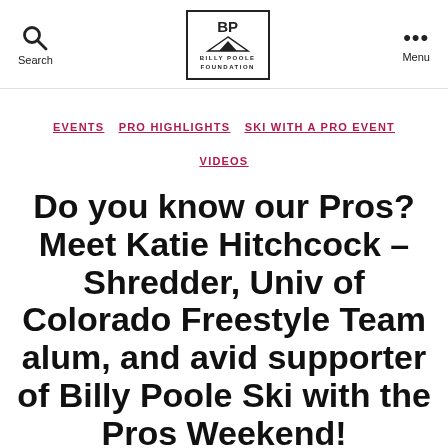Search | Billy Poole Foundation | Menu
EVENTS   PRO HIGHLIGHTS   SKI WITH A PRO EVENT VIDEOS
Do you know our Pros? Meet Katie Hitchcock – Shredder, Univ of Colorado Freestyle Team alum, and avid supporter of Billy Poole Ski with the Pros Weekend!